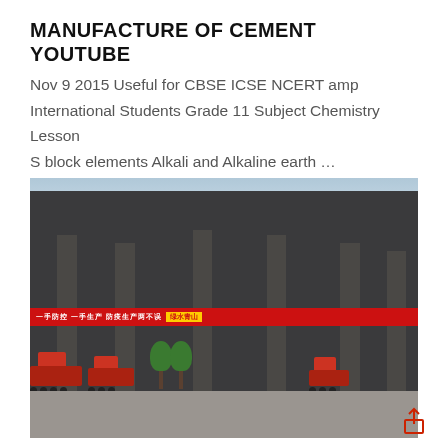MANUFACTURE OF CEMENT YOUTUBE
Nov 9 2015 Useful for CBSE ICSE NCERT amp International Students Grade 11 Subject Chemistry Lesson S block elements Alkali and Alkaline earth …
[Figure (photo): Photograph of a cement plant facility with a large covered structure supported by metal columns, red banners with Chinese text, and red trucks loading or unloading materials in the foreground.]